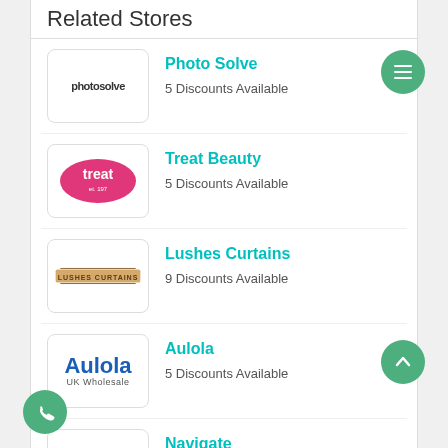Related Stores
Photo Solve — 5 Discounts Available
Treat Beauty — 5 Discounts Available
Lushes Curtains — 9 Discounts Available
Aulola — 5 Discounts Available
Navigate — 5 Discounts Available
Vape Jucce